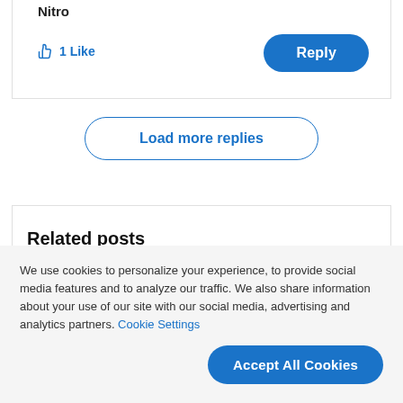Nitro
1 Like
Reply
Load more replies
Related posts
We use cookies to personalize your experience, to provide social media features and to analyze our traffic. We also share information about your use of our site with our social media, advertising and analytics partners. Cookie Settings
Accept All Cookies